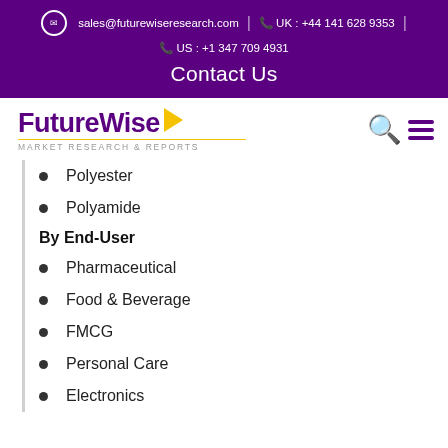sales@futurewiseresearch.com  |  UK : +44 141 628 9353  |  US : +1 347 709 4931
Contact Us
[Figure (logo): FutureWise Market Research & Reports logo with yellow arrow]
Polyester
Polyamide
By End-User
Pharmaceutical
Food & Beverage
FMCG
Personal Care
Electronics